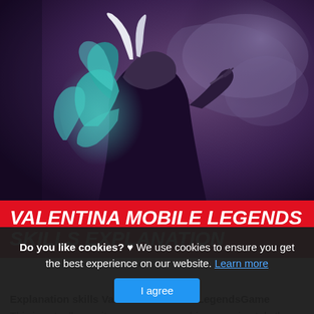[Figure (illustration): Fantasy game character artwork: Valentina from Mobile Legends — a dark-clad female mage with glowing teal/blue energy swirling around her, set against a dark purple smoky background with a large creature/skull shape behind her.]
VALENTINA MOBILE LEGENDS SKILLS EXPLANATION
Explanation skills Valentina : r/MobileLegendsGame
This is actually a write-up or even graphic approximately the Explanation skills Valentina : r/MobileLegendsGame, if you
Do you like cookies? ♥ We use cookies to ensure you get the best experience on our website. Learn more
I agree